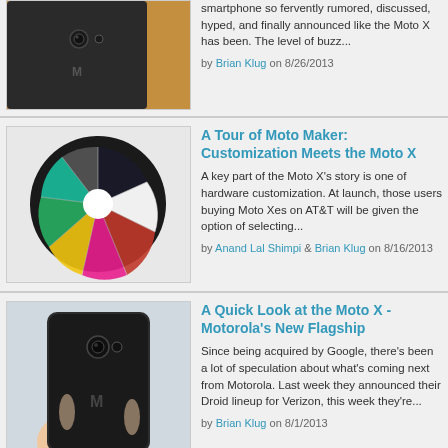[Figure (photo): Close-up of a dark Moto X smartphone showing the back panel with Motorola logo and camera, leaning against a wooden surface]
smartphone so fervently rumored, discussed, hyped, and finally announced like the Moto X has been. The level of buzz...
by Brian Klug on 8/26/2013
[Figure (photo): Fan arrangement of multiple colorful Moto X back panels in various colors including green, yellow, red, pink, white, black, and more, arranged in a circular fan shape]
A Tour of Moto Maker: Customization Meets the Moto X
A key part of the Moto X's story is one of hardware customization. At launch, those users buying Moto Xes on AT&T will be given the option of selecting...
by Anand Lal Shimpi & Brian Klug on 8/16/2013
[Figure (photo): Hand holding a dark Moto X smartphone showing the back, with the Motorola logo and camera visible]
A Quick Look at the Moto X - Motorola's New Flagship
Since being acquired by Google, there's been a lot of speculation about what's coming next from Motorola. Last week they announced their Droid lineup for Verizon, this week they're...
by Brian Klug on 8/1/2013
The AnandTech Podcast: